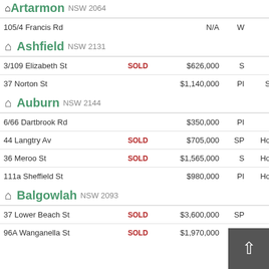Artarmon NSW 2064
| Address |  | Price | Code | Type | Beds |
| --- | --- | --- | --- | --- | --- |
| 105/4 Francis Rd |  | N/A | W | Unit | 1 |
Ashfield NSW 2131
| Address |  | Price | Code | Type | Beds |
| --- | --- | --- | --- | --- | --- |
| 3/109 Elizabeth St | SOLD | $626,000 | S | Unit | 2 |
| 37 Norton St |  | $1,140,000 | PI | Semi | 2 |
Auburn NSW 2144
| Address |  | Price | Code | Type | Beds |
| --- | --- | --- | --- | --- | --- |
| 6/66 Dartbrook Rd |  | $350,000 | PI | Unit | 2 |
| 44 Langtry Av | SOLD | $705,000 | SP | House | 2 |
| 36 Meroo St | SOLD | $1,565,000 | S | House | 5 |
| 111a Sheffield St |  | $980,000 | PI | House | 4 |
Balgowlah NSW 2093
| Address |  | Price | Code | Type | Beds |
| --- | --- | --- | --- | --- | --- |
| 37 Lower Beach St | SOLD | $3,600,000 | SP | House |  |
| 96A Wanganella St | SOLD | $1,970,000 | S | House | 3 |